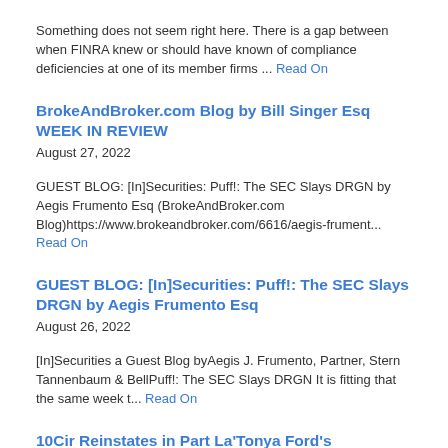Something does not seem right here. There is a gap between when FINRA knew or should have known of compliance deficiencies at one of its member firms ... Read On
BrokeAndBroker.com Blog by Bill Singer Esq WEEK IN REVIEW
August 27, 2022
GUEST BLOG: [In]Securities: Puff!: The SEC Slays DRGN by Aegis Frumento Esq (BrokeAndBroker.com Blog)https://www.brokeandbroker.com/6616/aegis-frument... Read On
GUEST BLOG: [In]Securities: Puff!: The SEC Slays DRGN by Aegis Frumento Esq
August 26, 2022
[In]Securities a Guest Blog byAegis J. Frumento, Partner, Stern Tannenbaum & BellPuff!: The SEC Slays DRGN It is fitting that the same week t... Read On
10Cir Reinstates in Part La'Tonya Ford's Retaliation /Hostile